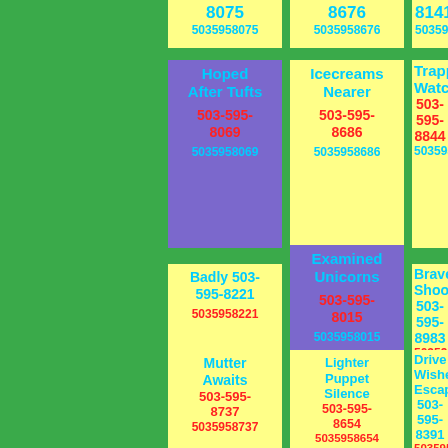8075 5035958075
8676 5035958676
8141 5035958141
Hoped After Tufts 503-595-8069 5035958069
Icecreams Nearer 503-595-8686 5035958686
Trapped Watching 503-595-8844 5035958844
Badly 503-595-8221 5035958221
Examined Unicorns 503-595-8015 5035958015
Brave Shook 503-595-8983 5035958983
Mutter Awaits 503-595-8737 5035958737
Lighter Puppet Silence 503-595-8654 5035958654
Drive Wished Escaping 503-595-8391 5035958391